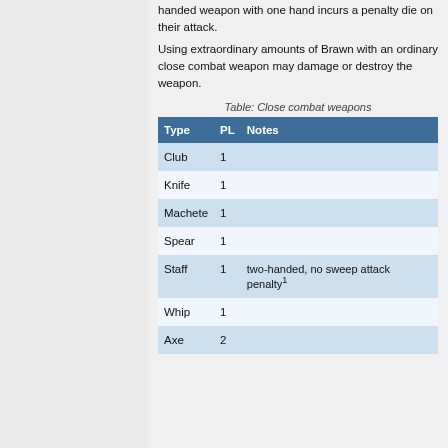handed weapon with one hand incurs a penalty die on their attack.
Using extraordinary amounts of Brawn with an ordinary close combat weapon may damage or destroy the weapon.
Table: Close combat weapons
| Type | PL | Notes |
| --- | --- | --- |
| Club | 1 |  |
| Knife | 1 |  |
| Machete | 1 |  |
| Spear | 1 |  |
| Staff | 1 | two-handed, no sweep attack penalty¹ |
| Whip | 1 |  |
| Axe | 2 |  |